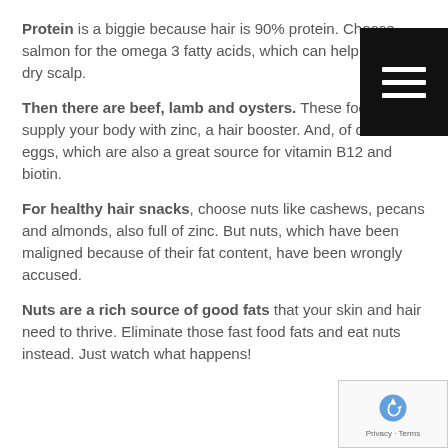Protein is a biggie because hair is 90% protein. Choose salmon for the omega 3 fatty acids, which can help prevent a dry scalp.
Then there are beef, lamb and oysters. These foods supply your body with zinc, a hair booster. And, of course eggs, which are also a great source for vitamin B12 and biotin.
For healthy hair snacks, choose nuts like cashews, pecans and almonds, also full of zinc. But nuts, which have been maligned because of their fat content, have been wrongly accused.
Nuts are a rich source of good fats that your skin and hair need to thrive. Eliminate those fast food fats and eat nuts instead. Just watch what happens!